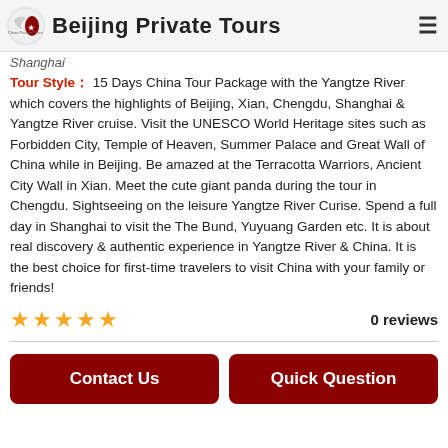Beijing Private Tours
Shanghai
Tour Style： 15 Days China Tour Package with the Yangtze River which covers the highlights of Beijing, Xian, Chengdu, Shanghai & Yangtze River cruise. Visit the UNESCO World Heritage sites such as Forbidden City, Temple of Heaven, Summer Palace and Great Wall of China while in Beijing. Be amazed at the Terracotta Warriors, Ancient City Wall in Xian. Meet the cute giant panda during the tour in Chengdu. Sightseeing on the leisure Yangtze River Curise. Spend a full day in Shanghai to visit the The Bund, Yuyuang Garden etc. It is about real discovery & authentic experience in Yangtze River & China. It is the best choice for first-time travelers to visit China with your family or friends!
★★★★★  0 reviews
Contact Us
Quick Question